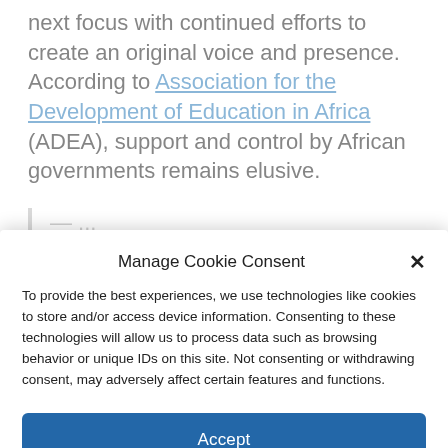next focus with continued efforts to create an original voice and presence. According to Association for the Development of Education in Africa (ADEA), support and control by African governments remains elusive.
Manage Cookie Consent
To provide the best experiences, we use technologies like cookies to store and/or access device information. Consenting to these technologies will allow us to process data such as browsing behavior or unique IDs on this site. Not consenting or withdrawing consent, may adversely affect certain features and functions.
Accept